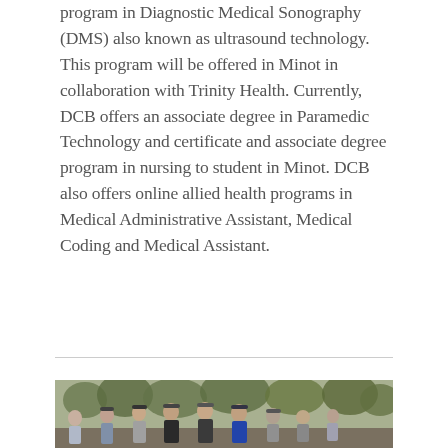program in Diagnostic Medical Sonography (DMS) also known as ultrasound technology. This program will be offered in Minot in collaboration with Trinity Health. Currently, DCB offers an associate degree in Paramedic Technology and certificate and associate degree program in nursing to student in Minot. DCB also offers online allied health programs in Medical Administrative Assistant, Medical Coding and Medical Assistant.
[Figure (photo): Group photo of approximately 9 people standing outdoors in front of trees. The group includes men and women of various ages, some wearing caps, standing close together in a row.]